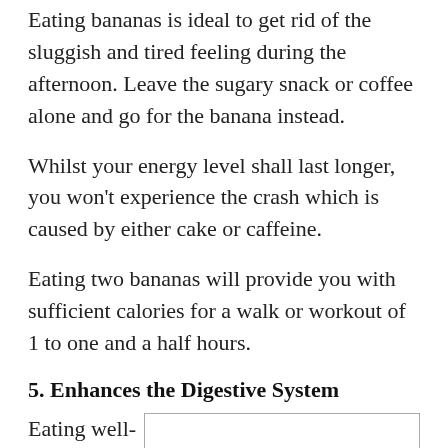Eating bananas is ideal to get rid of the sluggish and tired feeling during the afternoon. Leave the sugary snack or coffee alone and go for the banana instead.
Whilst your energy level shall last longer, you won't experience the crash which is caused by either cake or caffeine.
Eating two bananas will provide you with sufficient calories for a walk or workout of 1 to one and a half hours.
5. Enhances the Digestive System
Eating well-